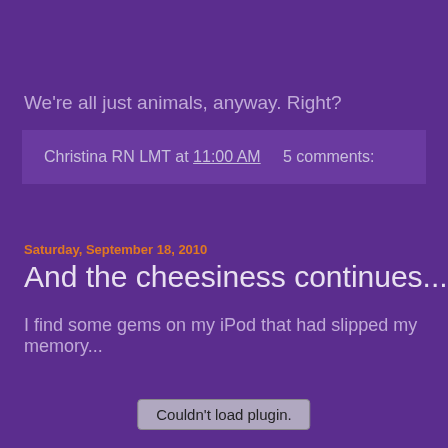We're all just animals, anyway. Right?
Christina RN LMT at 11:00 AM    5 comments:
Saturday, September 18, 2010
And the cheesiness continues...
I find some gems on my iPod that had slipped my memory...
Couldn't load plugin.